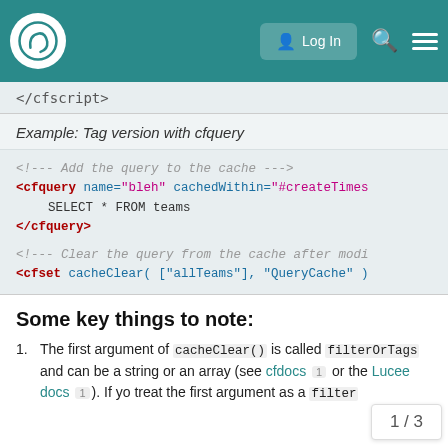Lucee community forum navigation bar with logo, Log In button, search and menu icons
</cfscript>
Example: Tag version with cfquery
<!--- Add the query to the cache --->
<cfquery name="bleh" cachedWithin="#createTimes
    SELECT * FROM teams
</cfquery>

<!--- Clear the query from the cache after modi
<cfset cacheClear( ["allTeams"], "QueryCache" )
Some key things to note:
The first argument of cacheClear() is called filterOrTags and can be a string or an array (see cfdocs 1 or the Lucee docs 1). If yo treat the first argument as a filter
1 / 3